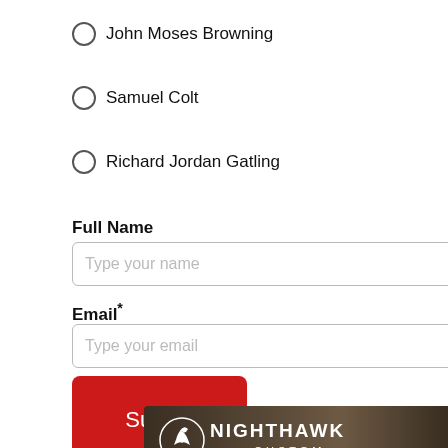John Moses Browning
Samuel Colt
Richard Jordan Gatling
Full Name
Type your name
Email*
Type your email
Submit
[Figure (logo): Nighthawk Custom logo with hawk emblem, white text on dark brown background]